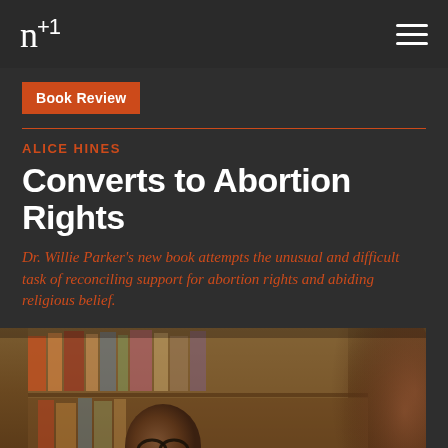n+1
Book Review
ALICE HINES
Converts to Abortion Rights
Dr. Willie Parker's new book attempts the unusual and difficult task of reconciling support for abortion rights and abiding religious belief.
[Figure (photo): Photograph of Dr. Willie Parker smiling, seated in front of a bookshelf, wearing a dark suit and glasses. A blurred figure appears in the foreground right.]